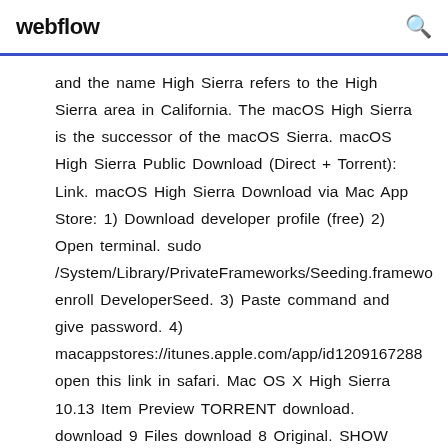webflow
and the name High Sierra refers to the High Sierra area in California. The macOS High Sierra is the successor of the macOS Sierra. macOS High Sierra Public Download (Direct + Torrent): Link. macOS High Sierra Download via Mac App Store: 1) Download developer profile (free) 2) Open terminal. sudo /System/Library/PrivateFrameworks/Seeding.framework enroll DeveloperSeed. 3) Paste command and give password. 4) macappstores://itunes.apple.com/app/id1209167288 open this link in safari. Mac OS X High Sierra 10.13 Item Preview TORRENT download. download 9 Files download 8 Original. SHOW ALL. IN COLLECTIONS. Operating System CD-